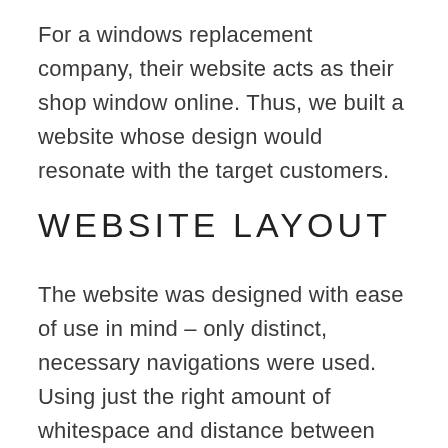For a windows replacement company, their website acts as their shop window online. Thus, we built a website whose design would resonate with the target customers.
WEBSITE LAYOUT
The website was designed with ease of use in mind – only distinct, necessary navigations were used. Using just the right amount of whitespace and distance between blocks of content, we were able to avoid clutter. Page design is consistent throughout the website, each page serving a particular, necessary purpose. We knew that great user experience would create a powerful and long-lasting impression on